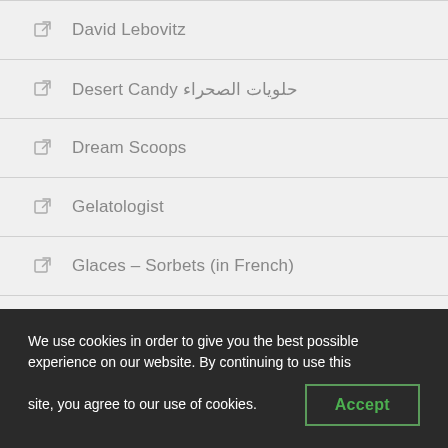David Lebovitz
Desert Candy حلويات الصحراء
Dream Scoops
Gelatologist
Glaces – Sorbets (in French)
Ice cream alchemy
Ice Cream by Coco Cake
Ice Cream Calculator
We use cookies in order to give you the best possible experience on our website. By continuing to use this site, you agree to our use of cookies.